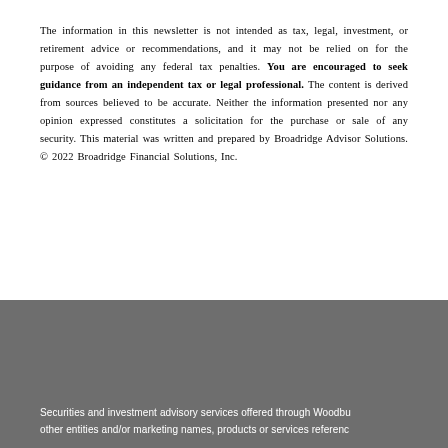The information in this newsletter is not intended as tax, legal, investment, or retirement advice or recommendations, and it may not be relied on for the purpose of avoiding any federal tax penalties. You are encouraged to seek guidance from an independent tax or legal professional. The content is derived from sources believed to be accurate. Neither the information presented nor any opinion expressed constitutes a solicitation for the purchase or sale of any security. This material was written and prepared by Broadridge Advisor Solutions. © 2022 Broadridge Financial Solutions, Inc.
Securities and investment advisory services offered through Woodbu other entities and/or marketing names, products or services referenc